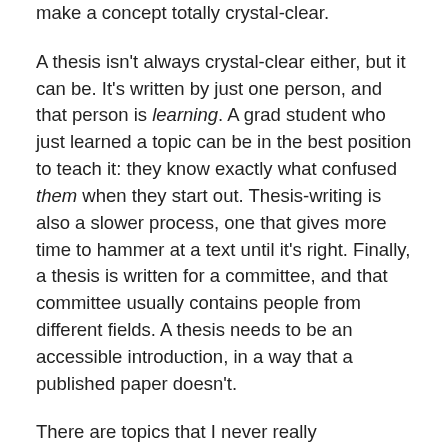make a concept totally crystal-clear.
A thesis isn't always crystal-clear either, but it can be. It's written by just one person, and that person is learning. A grad student who just learned a topic can be in the best position to teach it: they know exactly what confused them when they start out. Thesis-writing is also a slower process, one that gives more time to hammer at a text until it's right. Finally, a thesis is written for a committee, and that committee usually contains people from different fields. A thesis needs to be an accessible introduction, in a way that a published paper doesn't.
There are topics that I never really understood until I looked up the thesis of the grad student who helped discover it. There are tricks that never made it to published papers, that I've learned because they were tucked in to